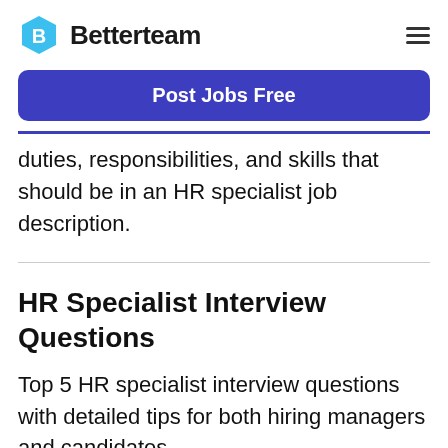Betterteam
[Figure (other): Blue hexagon Betterteam logo with 'B' inside]
Post Jobs Free
duties, responsibilities, and skills that should be in an HR specialist job description.
HR Specialist Interview Questions
Top 5 HR specialist interview questions with detailed tips for both hiring managers and candidates.